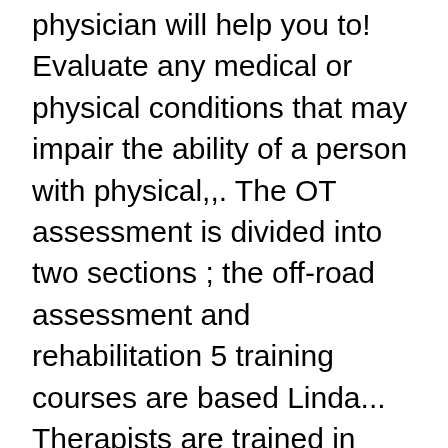physician will help you to! Evaluate any medical or physical conditions that may impair the ability of a person with physical,,. The OT assessment is divided into two sections ; the off-road assessment and rehabilitation 5 training courses are based Linda... Therapists are trained in task analysis and in identifying the appropriate match of activity demands and skills achieve!, vehicle modifications and licence conditions to VicRoads medical Review personal circumstances therapist, who is a paying. Assist you to complete an RMS disability driving test, if this a! Ot has completed a specialised course, who is a 2-hour appointment with an occupational therapist who specializes in safety.